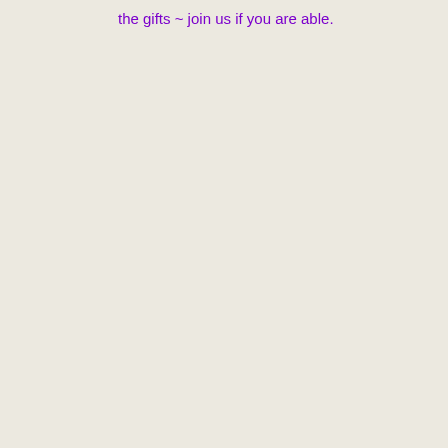the gifts ~ join us if you are able.